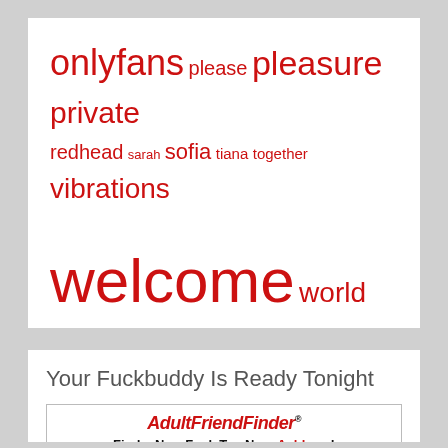onlyfans please pleasure private redhead sarah sofia tiana together vibrations welcome world
Your Fuckbuddy Is Ready Tonight
[Figure (other): AdultFriendFinder advertisement banner with map showing user locations near Ashburn, VA with profile photos pinned on the map]